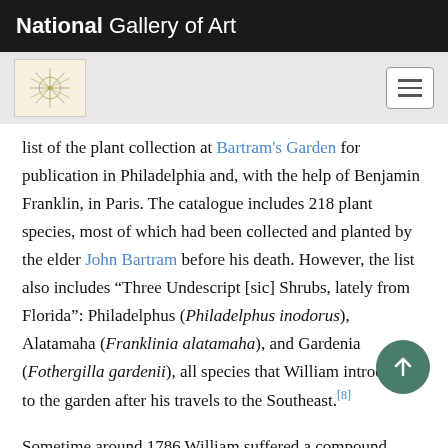National Gallery of Art
list of the plant collection at Bartram's Garden for publication in Philadelphia and, with the help of Benjamin Franklin, in Paris. The catalogue includes 218 plant species, most of which had been collected and planted by the elder John Bartram before his death. However, the list also includes “Three Undescript [sic] Shrubs, lately from Florida”: Philadelphus (Philadelphus inodorus), Alatamaha (Franklinia alatamaha), and Gardenia (Fothergilla gardenii), all species that William introduced to the garden after his travels to the Southeast.[8]
Sometime around 1786 William suffered a compound